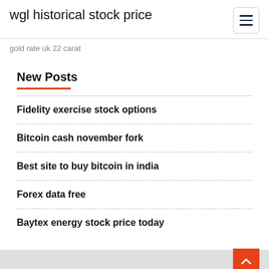wgl historical stock price
gold rate uk 22 carat
New Posts
Fidelity exercise stock options
Bitcoin cash november fork
Best site to buy bitcoin in india
Forex data free
Baytex energy stock price today